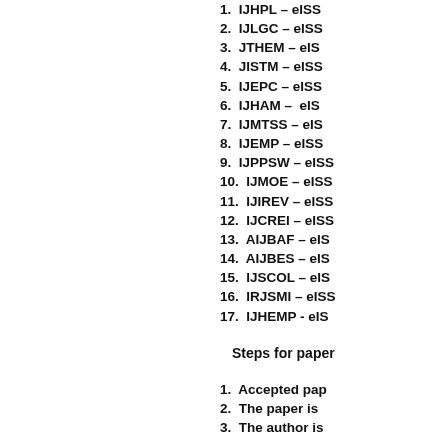1. IJHPL – eISS
2. IJLGC – eISS
3. JTHEM – eIS
4. JISTM – eISS
5. IJEPC – eISS
6. IJHAM – eIS
7. IJMTSS – eIS
8. IJEMP – eISS
9. IJPPSW – eISS
10. IJMOE – eISS
11. IJIREV – eISS
12. IJCREI – eISS
13. AIJBAF – eIS
14. AIJBES – eIS
15. IJSCOL – eIS
16. IRJSMI – eISS
17. IJHEMP - eIS
Steps for paper
1. Accepted pap
2. The paper is
3. The author is